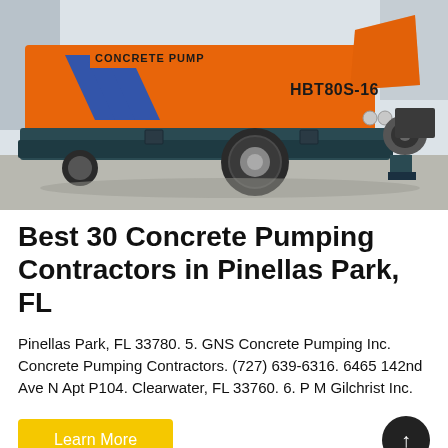[Figure (photo): Orange concrete pump machine model HBT80S-16 with blue stripe decorations, parked outdoors on a concrete surface. The machine has a large hopper on the right end and a wheel visible in the middle.]
Best 30 Concrete Pumping Contractors in Pinellas Park, FL
Pinellas Park, FL 33780. 5. GNS Concrete Pumping Inc. Concrete Pumping Contractors. (727) 639-6316. 6465 142nd Ave N Apt P104. Clearwater, FL 33760. 6. P M Gilchrist Inc.